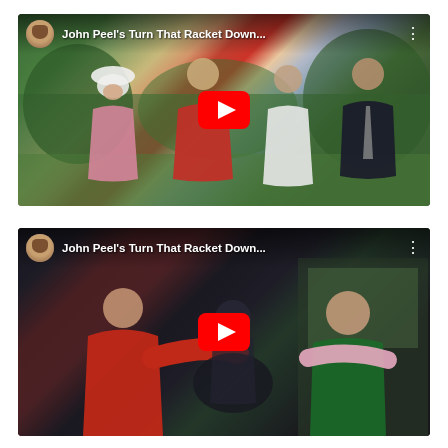[Figure (screenshot): YouTube video thumbnail showing 'John Peel's Turn That Racket Down...' with a group of people at an outdoor wedding scene. Shows avatar icon, title text, three-dot menu, and red YouTube play button in center.]
[Figure (screenshot): YouTube video thumbnail showing 'John Peel's Turn That Racket Down...' with people at what appears to be an indoor/outdoor event with a woman in red and another in green. Shows avatar icon, title text, three-dot menu, and red YouTube play button in center.]